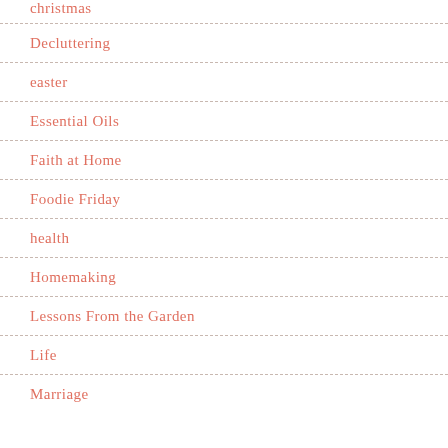Decluttering
easter
Essential Oils
Faith at Home
Foodie Friday
health
Homemaking
Lessons From the Garden
Life
Marriage